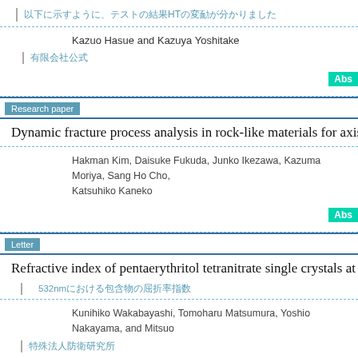（Japanese characters）HTの（Japanese characters）
Kazuo Hasue and Kazuya Yoshitake
（Japanese characters）
Research paper
Dynamic fracture process analysis in rock-like materials for axisy...
Hakman Kim, Daisuke Fukuda, Junko Ikezawa, Kazuma Moriya, Sang Ho Cho, Katsuhiko Kaneko
Letter
Refractive index of pentaerythritol tetranitrate single crystals at 53...
（Japanese）532nm（Japanese characters）
Kunihiko Wakabayashi, Tomoharu Matsumura, Yoshio Nakayama, and Mitsuo...
（Japanese characters）